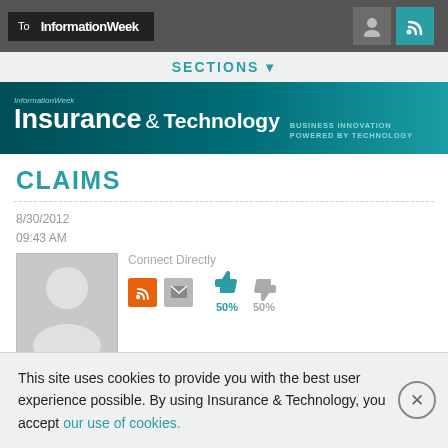To InformationWeek
[Figure (screenshot): InformationWeek Insurance & Technology brand banner with teal background]
CLAIMS
8/30/2012 09:43 AM
[Figure (photo): Reuters author avatar placeholder with person silhouette icon, RSS and email connect buttons, thumbs up/down voting at 50% each]
Reuters
News
This site uses cookies to provide you with the best user experience possible. By using Insurance & Technology, you accept our use of cookies.